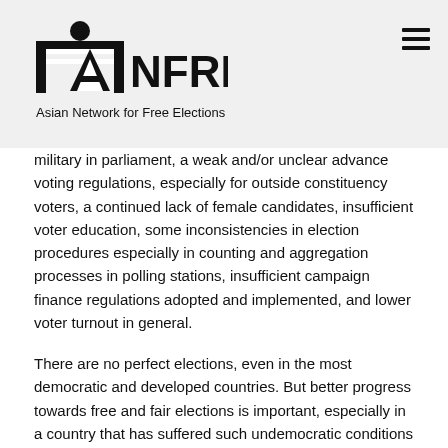[Figure (logo): ANFREL - Asian Network for Free Elections logo with hamburger menu icon in top right]
military in parliament, a weak and/or unclear advance voting regulations, especially for outside constituency voters, a continued lack of female candidates, insufficient voter education, some inconsistencies in election procedures especially in counting and aggregation processes in polling stations, insufficient campaign finance regulations adopted and implemented, and lower voter turnout in general.
There are no perfect elections, even in the most democratic and developed countries. But better progress towards free and fair elections is important, especially in a country that has suffered such undemocratic conditions for so long. This electoral progress was assessed by 11 international observers who over the course of 2 weeks relied on mobile observation to collect data from all 22 townships in the eight states/regions where by-elections were conducted. Two expert electoral analysts